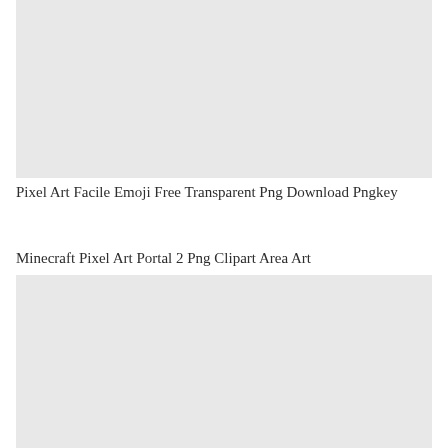[Figure (illustration): Pixel art emoji image placeholder (light gray rectangle)]
Pixel Art Facile Emoji Free Transparent Png Download Pngkey
Minecraft Pixel Art Portal 2 Png Clipart Area Art
[Figure (illustration): Minecraft pixel art portal image placeholder (light gray rectangle)]